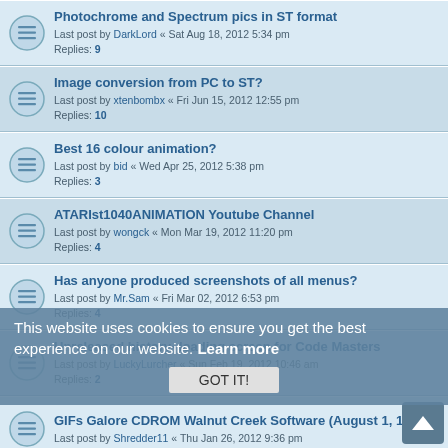Photochrome and Spectrum pics in ST format | Last post by DarkLord « Sat Aug 18, 2012 5:34 pm | Replies: 9
Image conversion from PC to ST? | Last post by xtenbombx « Fri Jun 15, 2012 12:55 pm | Replies: 10
Best 16 colour animation? | Last post by bid « Wed Apr 25, 2012 5:38 pm | Replies: 3
ATARIst1040ANIMATION Youtube Channel | Last post by wongck « Mon Mar 19, 2012 11:20 pm | Replies: 4
Has anyone produced screenshots of all menus? | Last post by Mr.Sam « Fri Mar 02, 2012 6:53 pm | Replies: 4
Unreleased history- loading screen for Code Masters | Last post by LuckyLurcher « Sun Feb 19, 2012 10:46 am | Replies: 2
GIFs Galore CDROM Walnut Creek Software (August 1, 1992) | Last post by Shredder11 « Thu Jan 26, 2012 9:36 pm
Great 640x400 Monochrome art | Last post by griz « Tue Dec 27, 2011 7:37 pm | Replies: 8
Animated video of Hylst pics on ST with music | Last post by hylst « Mon Nov 14, 2011 12:08 am | Replies: 1
atari 2600 HALO EDITION | Last post by nativ « Wed Nov 09, 2011 7:34 pm
This website uses cookies to ensure you get the best experience on our website. Learn more | GOT IT!